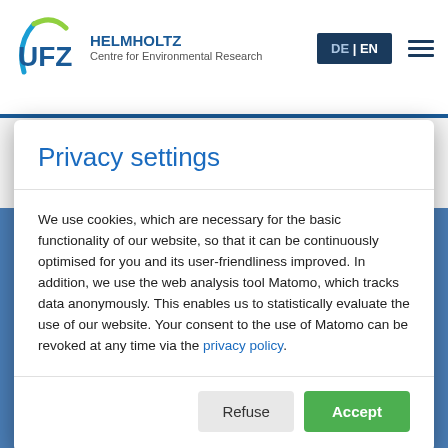[Figure (logo): UFZ Helmholtz Centre for Environmental Research logo with circular arc and text]
DE | EN
[Figure (logo): Federal Ministry of Education eagle logo with text 'Federal Ministry of Education']
SACHSEN
Privacy settings
We use cookies, which are necessary for the basic functionality of our website, so that it can be continuously optimised for you and its user-friendliness improved. In addition, we use the web analysis tool Matomo, which tracks data anonymously. This enables us to statistically evaluate the use of our website. Your consent to the use of Matomo can be revoked at any time via the privacy policy.
Refuse
Accept